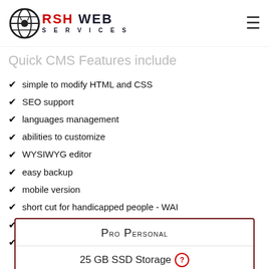RSH WEB SERVICES
Quick CMS Features include
simple to modify HTML and CSS
SEO support
languages management
abilities to customize
WYSIWYG editor
easy backup
mobile version
short cut for handicapped people - WAI
High Speed SSD RAID-10 Storage
Secure SSL Certificates included
Pro Personal
25 GB SSD Storage
Domain Name - Free
5 Email Accounts